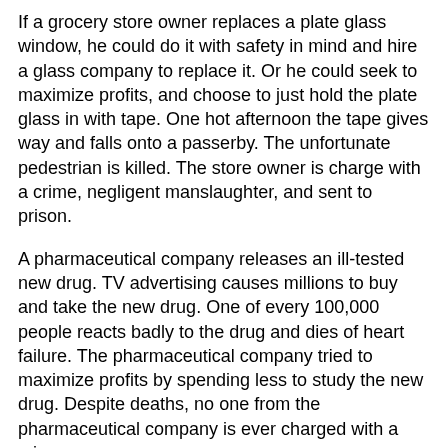If a grocery store owner replaces a plate glass window, he could do it with safety in mind and hire a glass company to replace it. Or he could seek to maximize profits, and choose to just hold the plate glass in with tape. One hot afternoon the tape gives way and falls onto a passerby. The unfortunate pedestrian is killed. The store owner is charge with a crime, negligent manslaughter, and sent to prison.
A pharmaceutical company releases an ill-tested new drug. TV advertising causes millions to buy and take the new drug. One of every 100,000 people reacts badly to the drug and dies of heart failure. The pharmaceutical company tried to maximize profits by spending less to study the new drug. Despite deaths, no one from the pharmaceutical company is ever charged with a crime.
An HMO decides ahead of time that a certain procedure will not be covered despite the occasional need for it. This decision is intended to reduce costs and thereby increase profits. Because of this decision people are denied a needed procedure and die. Despite the incorrect reason for denying a procedure, no one at the HMO is ever charged with